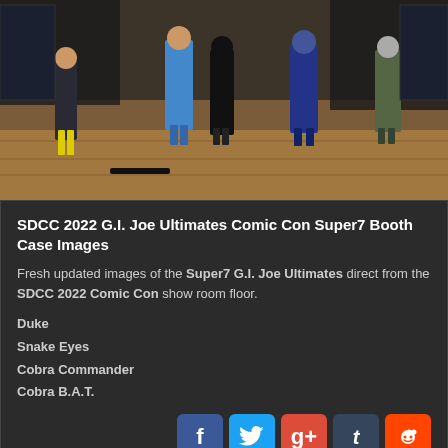[Figure (photo): G.I. Joe action figures displayed on a wooden surface at the Super7 SDCC 2022 booth, showing Duke, Snake Eyes, Cobra Commander, and Cobra B.A.T. figures in packaging and loose.]
SDCC 2022 G.I. Joe Ultimates Comic Con Super7 Booth Case Images
Fresh updated images of the Super7 G.I. Joe Ultimates direct from the SDCC 2022 Comic Con show room floor.
Duke
Snake Eyes
Cobra Commander
Cobra B.A.T.
› Views: 2338
Discuss on the HissTank Forums
Super7 SDCC 2022 G.I. Joe Reaction and Ultimates Glow In The Dark Exclusives
Posted on July 14, 2022 at 1:06 pm by DESTRO